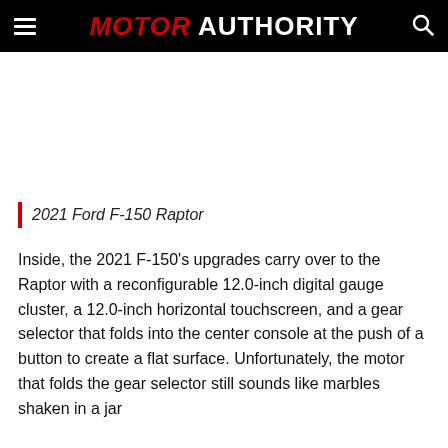MOTOR AUTHORITY
2021 Ford F-150 Raptor
Inside, the 2021 F-150's upgrades carry over to the Raptor with a reconfigurable 12.0-inch digital gauge cluster, a 12.0-inch horizontal touchscreen, and a gear selector that folds into the center console at the push of a button to create a flat surface. Unfortunately, the motor that folds the gear selector still sounds like marbles shaken in a jar